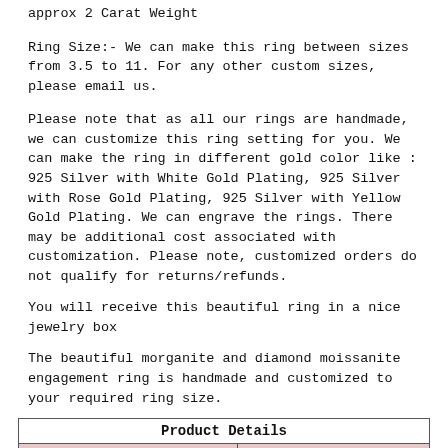approx 2 Carat Weight
Ring Size:- We can make this ring between sizes from 3.5 to 11. For any other custom sizes, please email us.
Please note that as all our rings are handmade, we can customize this ring setting for you. We can make the ring in different gold color like : 925 Silver with White Gold Plating, 925 Silver with Rose Gold Plating, 925 Silver with Yellow Gold Plating. We can engrave the rings. There may be additional cost associated with customization. Please note, customized orders do not qualify for returns/refunds.
You will receive this beautiful ring in a nice jewelry box
The beautiful morganite and diamond moissanite engagement ring is handmade and customized to your required ring size.
| Product Cod | SilverMOR0 | Metal | Sterling Silv |
| --- | --- | --- | --- |